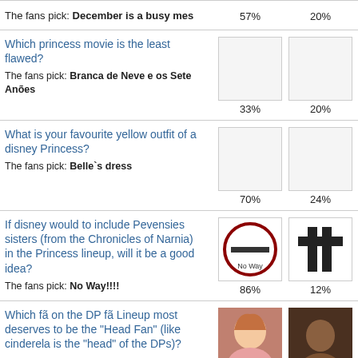The fans pick: December is a busy mes — 57% / 20%
Which princess movie is the least flawed? The fans pick: Branca de Neve e os Sete Anões — 33% / 20%
What is your favourite yellow outfit of a disney Princess? The fans pick: Belle`s dress — 70% / 24%
If disney would to include Pevensies sisters (from the Chronicles of Narnia) in the Princess lineup, will it be a good idea? The fans pick: No Way!!!! — 86% / 12%
Which fã on the DP fã Lineup most deserves to be the "Head Fan" (like cinderela is the "head" of the DPs)? The fans pick: princesslullaby — 77% / 11%